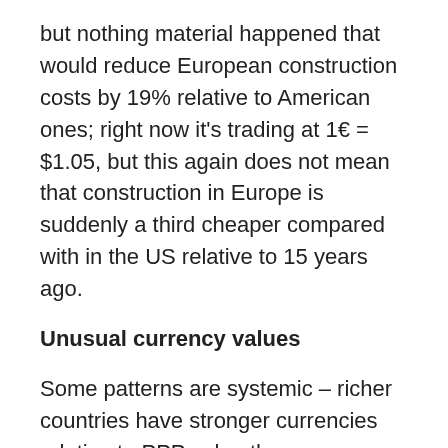but nothing material happened that would reduce European construction costs by 19% relative to American ones; right now it's trading at 1€ = $1.05, but this again does not mean that construction in Europe is suddenly a third cheaper compared with in the US relative to 15 years ago.
Unusual currency values
Some patterns are systemic – richer countries have stronger currencies relative to PPP value than poor countries. But others are not, and it's important to control for them. A currency can be weak due to the risk of war or disaster; the Taiwanese dollar is unusually weak for how rich Taiwan is, and this should not mean that Taiwanese construction costs are half what they really are. Or it can be strong or weak based on long-term investment